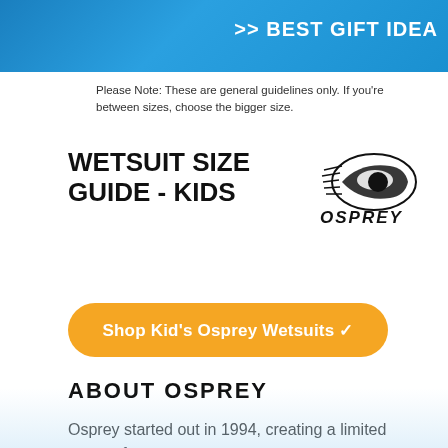>> BEST GIFT IDEA
Please Note: These are general guidelines only. If you're between sizes, choose the bigger size.
WETSUIT SIZE GUIDE - KIDS
[Figure (logo): Osprey brand logo with stylized swoosh and text]
Shop Kid's Osprey Wetsuits ✓
ABOUT OSPREY
Osprey started out in 1994, creating a limited range of